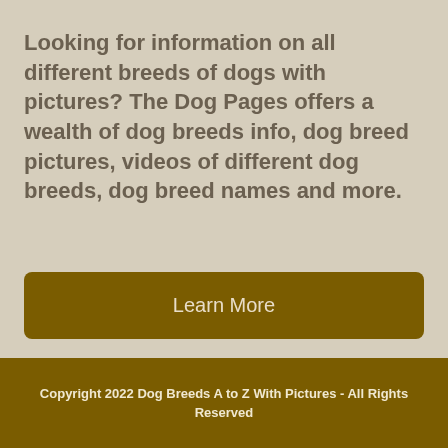Looking for information on all different breeds of dogs with pictures? The Dog Pages offers a wealth of dog breeds info, dog breed pictures, videos of different dog breeds, dog breed names and more.
Learn More
Copyright 2022 Dog Breeds A to Z With Pictures - All Rights Reserved